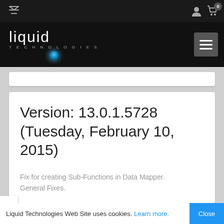Liquid Technologies website header with logo and navigation
Version: 13.0.1.5728 (Tuesday, February 10, 2015)
Fix for creating Sub-Functions in Data Mapper.
General Fixes.
Version: 13.0.1.5719 (Sunday,
Liquid Technologies Web Site uses cookies. Learn more. Close